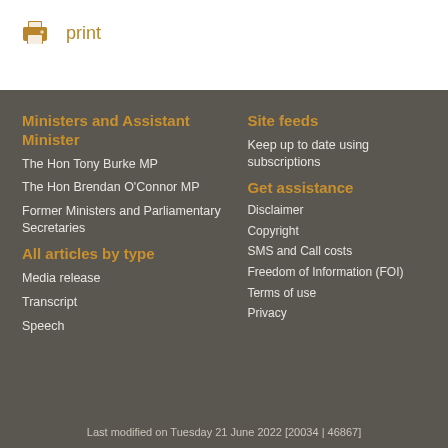[Figure (other): Print icon (printer symbol) in golden/amber color followed by the text 'print']
Ministers and Assistant Minister
The Hon Tony Burke MP
The Hon Brendan O'Connor MP
Former Ministers and Parliamentary Secretaries
All articles by type
Media release
Transcript
Speech
Site feeds
Keep up to date using subscriptions
Get assistance
Disclaimer
Copyright
SMS and Call costs
Freedom of Information (FOI)
Terms of use
Privacy
Last modified on Tuesday 21 June 2022 [20034 | 46867]